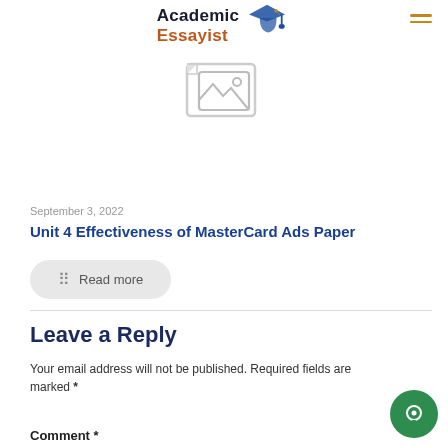Academic Essayist
[Figure (illustration): Placeholder image icon — envelope/image placeholder in gray]
September 3, 2022
Unit 4 Effectiveness of MasterCard Ads Paper
Read more
Leave a Reply
Your email address will not be published. Required fields are marked *
Comment *